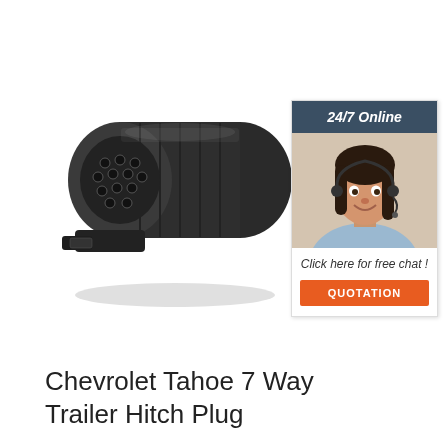[Figure (photo): Black plastic 13-pin trailer hitch plug / connector with multiple pin holes visible on front face, showing a cylindrical housing with a locking tab at the bottom]
[Figure (photo): Customer service chat widget showing a smiling woman with headset, '24/7 Online' header, 'Click here for free chat!' text, and orange QUOTATION button]
Chevrolet Tahoe 7 Way Trailer Hitch Plug